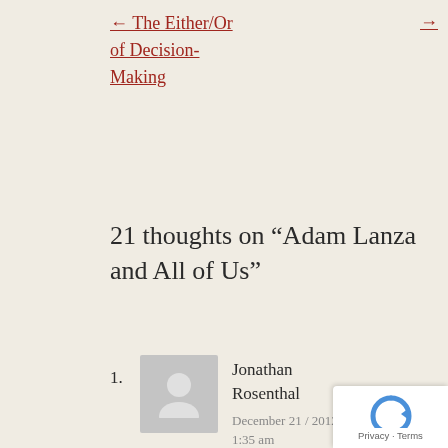← The Either/Or of Decision-Making →
21 thoughts on “Adam Lanza and All of Us”
1. Jonathan Rosenthal
December 21 / 2012 at 1:35 am
Beautiful writing Miki. I had the same reaction when I read Alice Miller—after I finished sobbing for myself and my hidden pain!